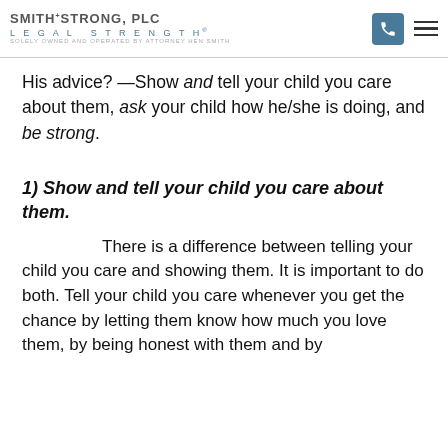SMITH STRONG, PLC LEGAL STRENGTH® SOLELY OWNED AND OPERATED BY ATTORNEY HEN SMITH
His advice? —Show and tell your child you care about them, ask your child how he/she is doing, and be strong.
1) Show and tell your child you care about them.
There is a difference between telling your child you care and showing them. It is important to do both. Tell your child you care whenever you get the chance by letting them know how much you love them, by being honest with them and by something to them about it is our Sh...